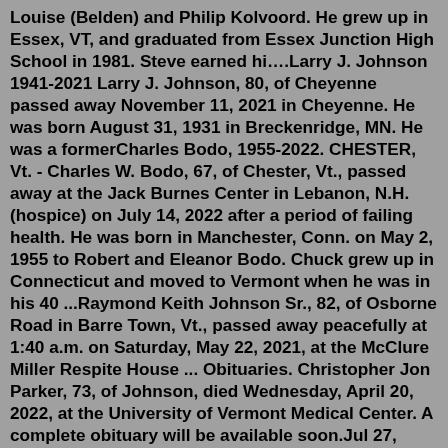Louise (Belden) and Philip Kolvoord. He grew up in Essex, VT, and graduated from Essex Junction High School in 1981. Steve earned hi….Larry J. Johnson 1941-2021 Larry J. Johnson, 80, of Cheyenne passed away November 11, 2021 in Cheyenne. He was born August 31, 1931 in Breckenridge, MN. He was a formerCharles Bodo, 1955-2022. CHESTER, Vt. - Charles W. Bodo, 67, of Chester, Vt., passed away at the Jack Burnes Center in Lebanon, N.H. (hospice) on July 14, 2022 after a period of failing health. He was born in Manchester, Conn. on May 2, 1955 to Robert and Eleanor Bodo. Chuck grew up in Connecticut and moved to Vermont when he was in his 40 ...Raymond Keith Johnson Sr., 82, of Osborne Road in Barre Town, Vt., passed away peacefully at 1:40 a.m. on Saturday, May 22, 2021, at the McClure Miller Respite House ... Obituaries. Christopher Jon Parker, 73, of Johnson, died Wednesday, April 20, 2022, at the University of Vermont Medical Center. A complete obituary will be available soon.Jul 27, 2022 · HARDWICK ... Joint Memorial Services for W. David